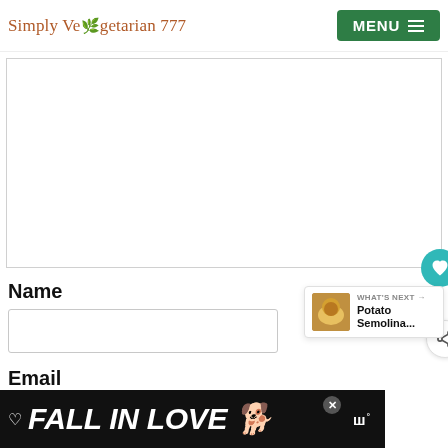Simply Vegetarian 777 | MENU
[Figure (other): Large white/blank content image area with border, heart button overlay at bottom right]
Name
[Figure (other): Text input field for Name]
Email
[Figure (other): WHAT'S NEXT panel with thumbnail and text 'Potato Semolina...']
[Figure (other): Ad banner: FALL IN LOVE with dog image and close button]